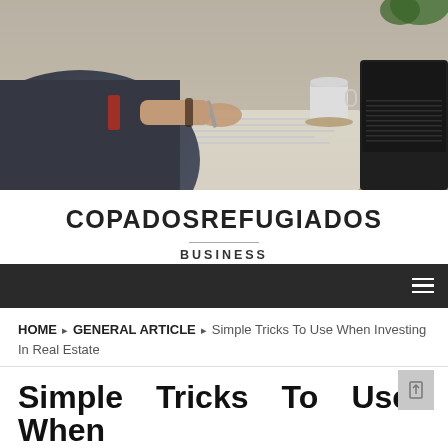[Figure (photo): Person in a grey business suit writing on documents at a table, with a coffee cup and open laptop visible on the right side]
COPADOSREFUGIADOS
BUSINESS
Navigation bar with hamburger menu icon
HOME › GENERAL ARTICLE › Simple Tricks To Use When Investing In Real Estate
Simple Tricks To Use When